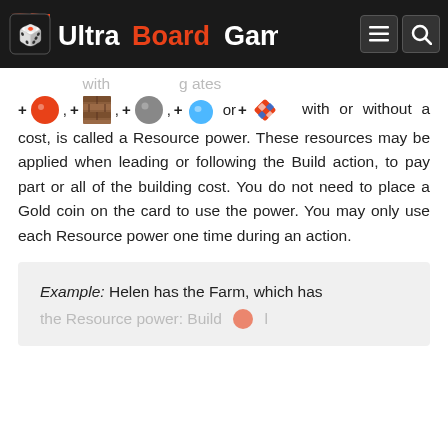UltraBoardGames
+[orange], +[wood], +[gray], +[blue], or +[diamond] with or without a cost, is called a Resource power. These resources may be applied when leading or following the Build action, to pay part or all of the building cost. You do not need to place a Gold coin on the card to use the power. You may only use each Resource power one time during an action.
Example: Helen has the Farm, which has [partial]